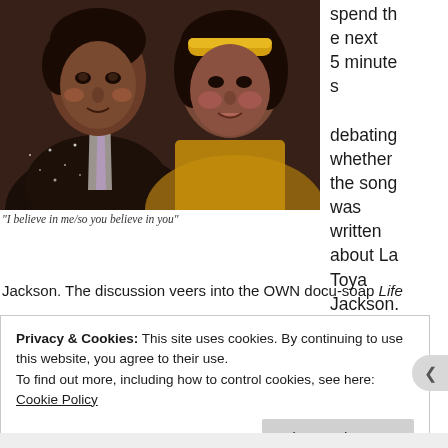[Figure (photo): Two people posing together for a photo. On the left, a man in a glittery black jacket with a purple tie. On the right, a woman wearing a yellow headband and yellow outfit.]
“I believe in me/so you believe in you”
spend the next 5 minutes debating whether the song was written about La Toya Jackson. The discussion veers into the OWN docu-soap Life
Privacy & Cookies: This site uses cookies. By continuing to use this website, you agree to their use.
To find out more, including how to control cookies, see here: Cookie Policy
Close and accept